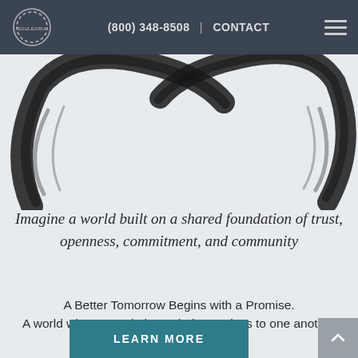(800) 348-8508 | CONTACT
[Figure (illustration): Zen enso circle brush stroke, partially visible at top of content area, black brushstroke on light grey background]
Imagine a world built on a shared foundation of trust, openness, commitment, and community
A Better Tomorrow Begins with a Promise.
A world where people keep their promises to one another
LEARN MORE